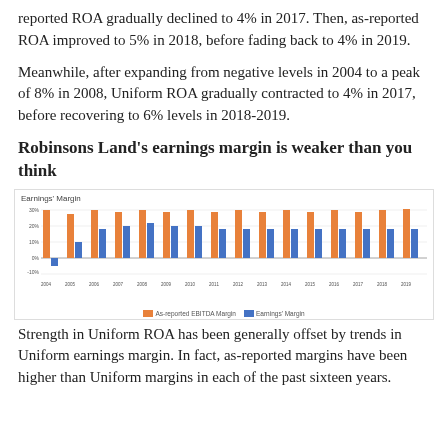reported ROA gradually declined to 4% in 2017. Then, as-reported ROA improved to 5% in 2018, before fading back to 4% in 2019.
Meanwhile, after expanding from negative levels in 2004 to a peak of 8% in 2008, Uniform ROA gradually contracted to 4% in 2017, before recovering to 6% levels in 2018-2019.
Robinsons Land's earnings margin is weaker than you think
[Figure (grouped-bar-chart): Earnings' Margin]
Strength in Uniform ROA has been generally offset by trends in Uniform earnings margin. In fact, as-reported margins have been higher than Uniform margins in each of the past sixteen years.